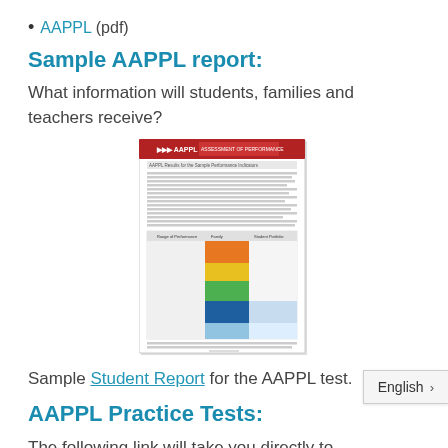AAPPL (pdf)
Sample AAPPL report:
What information will students, families and teachers receive?
[Figure (screenshot): Thumbnail image of a sample AAPPL Student Report document showing a red header with AAPPL logo, body text, and a colorful table with orange, yellow, green, and blue sections.]
Sample Student Report for the AAPPL test.
AAPPL Practice Tests:
The following link will take you directly to the AAPPL practice site for the most recent bi...